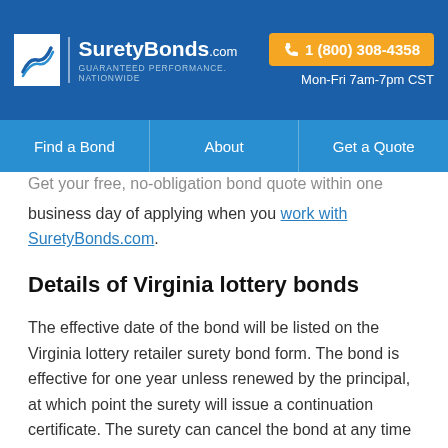SuretyBonds.com — GUARANTEED PERFORMANCE. NATIONWIDE | 1 (800) 308-4358 | Mon-Fri 7am-7pm CST
Find a Bond | About | Get a Quote
business day of applying when you work with SuretyBonds.com.
Details of Virginia lottery bonds
The effective date of the bond will be listed on the Virginia lottery retailer surety bond form. The bond is effective for one year unless renewed by the principal, at which point the surety will issue a continuation certificate. The surety can cancel the bond at any time by giving written notice of cancellation to the Director of